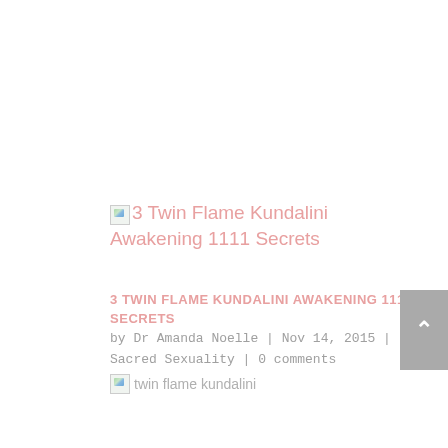3 Twin Flame Kundalini Awakening 1111 Secrets
3 TWIN FLAME KUNDALINI AWAKENING 1111 SECRETS
by Dr Amanda Noelle | Nov 14, 2015 | Sacred Sexuality | 0 comments
[Figure (photo): Broken image placeholder for twin flame kundalini]